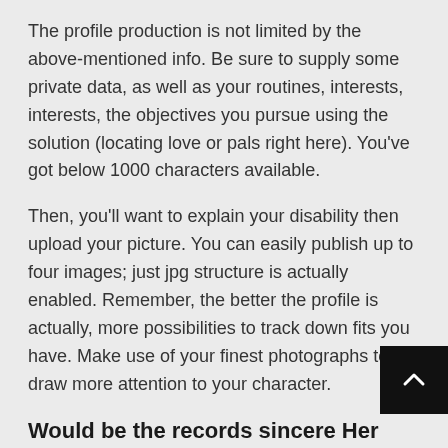The profile production is not limited by the above-mentioned info. Be sure to supply some private data, as well as your routines, interests, interests, the objectives you pursue using the solution (locating love or pals right here). You've got below 1000 characters available.
Then, you'll want to explain your disability then upload your picture. You can easily publish up to four images; just jpg structure is actually enabled. Remember, the better the profile is actually, more possibilities to track down fits you have. Make use of your finest photographs to draw more attention to your character.
Would be the records sincere Her
No dating site can assure you they own 100p real records. In spite of this, Dating4disabled does